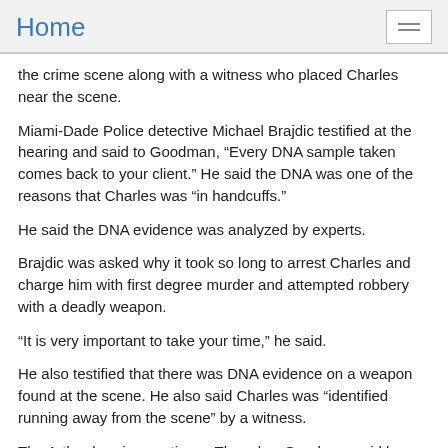Home
the crime scene along with a witness who placed Charles near the scene.
Miami-Dade Police detective Michael Brajdic testified at the hearing and said to Goodman, “Every DNA sample taken comes back to your client.” He said the DNA was one of the reasons that Charles was “in handcuffs.”
He said the DNA evidence was analyzed by experts.
Brajdic was asked why it took so long to arrest Charles and charge him with first degree murder and attempted robbery with a deadly weapon.
“It is very important to take your time,” he said.
He also testified that there was DNA evidence on a weapon found at the scene. He also said Charles was “identified running away from the scene” by a witness.
The Arthur hearing continues Thursday. Goodman said he planned to call an expert on DNA testimony.
Read More Here    [Source] CBS 4 Miami